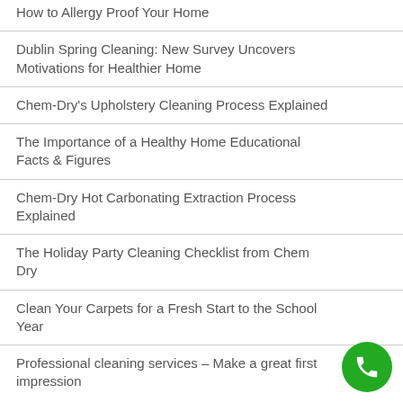How to Allergy Proof Your Home
Dublin Spring Cleaning: New Survey Uncovers Motivations for Healthier Home
Chem-Dry's Upholstery Cleaning Process Explained
The Importance of a Healthy Home Educational Facts & Figures
Chem-Dry Hot Carbonating Extraction Process Explained
The Holiday Party Cleaning Checklist from Chem Dry
Clean Your Carpets for a Fresh Start to the School Year
Professional cleaning services – Make a great first impression